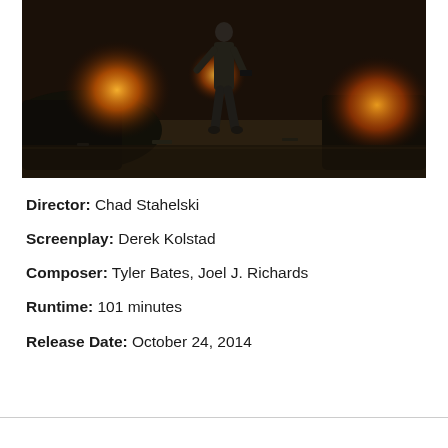[Figure (photo): Action movie still showing a man in dark clothing walking toward the camera holding a gun, with burning debris and destroyed vehicles on either side, in a dark urban environment.]
Director: Chad Stahelski
Screenplay: Derek Kolstad
Composer: Tyler Bates, Joel J. Richards
Runtime: 101 minutes
Release Date: October 24, 2014